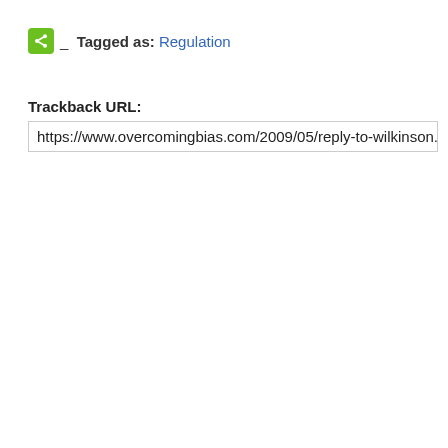Tagged as: Regulation
Trackback URL:
https://www.overcomingbias.com/2009/05/reply-to-wilkinson.html/tra